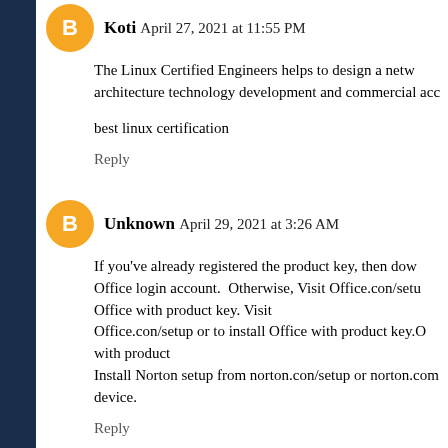Koti  April 27, 2021 at 11:55 PM
The Linux Certified Engineers helps to design a network architecture technology development and commercial acc...
best linux certification
Reply
Unknown  April 29, 2021 at 3:26 AM
If you've already registered the product key, then download Office login account. Otherwise, Visit Office.con/setup Office with product key. Visit Office.con/setup or to install Office with product key.O with product Install Norton setup from norton.con/setup or norton.com device.
Reply